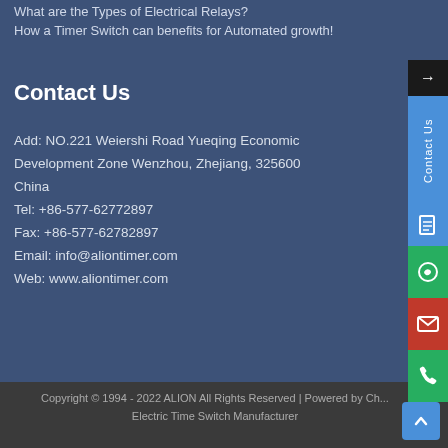What are the Types of Electrical Relays?
How a Timer Switch can benefits for Automated growth!
Contact Us
Add: NO.221 Weiershi Road Yueqing Economic Development Zone Wenzhou, Zhejiang, 325600 China
Tel: +86-577-62772897
Fax:  +86-577-62782897
Email:  info@aliontimer.com
Web:  www.aliontimer.com
Copyright © 1994 - 2022 ALION All Rights Reserved | Powered by Ch... Electric Time Switch Manufacturer